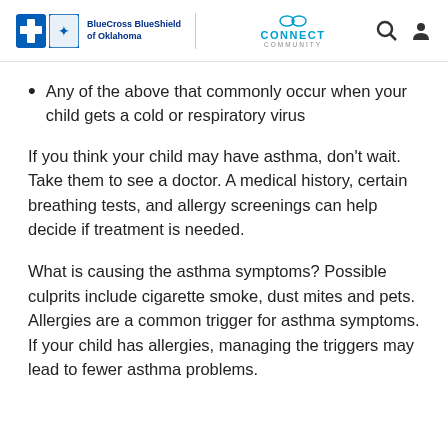BlueCross BlueShield of Oklahoma | CONNECT COMMUNITY
Any of the above that commonly occur when your child gets a cold or respiratory virus
If you think your child may have asthma, don't wait. Take them to see a doctor. A medical history, certain breathing tests, and allergy screenings can help decide if treatment is needed.
What is causing the asthma symptoms? Possible culprits include cigarette smoke, dust mites and pets. Allergies are a common trigger for asthma symptoms. If your child has allergies, managing the triggers may lead to fewer asthma problems.